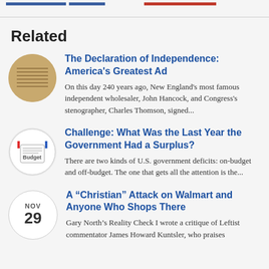Related
The Declaration of Independence: America's Greatest Ad
On this day 240 years ago, New England's most famous independent wholesaler, John Hancock, and Congress's stenographer, Charles Thomson, signed...
Challenge: What Was the Last Year the Government Had a Surplus?
There are two kinds of U.S. government deficits: on-budget and off-budget. The one that gets all the attention is the...
A “Christian” Attack on Walmart and Anyone Who Shops There
Gary North’s Reality Check I wrote a critique of Leftist commentator James Howard Kuntsler, who praises